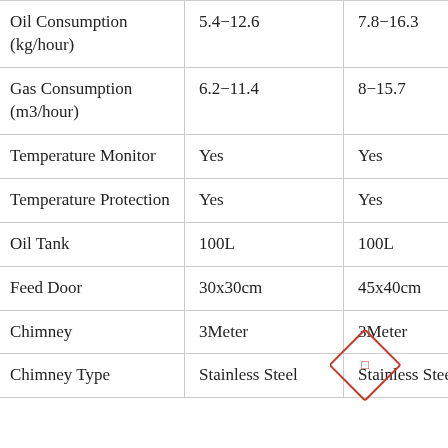| Oil Consumption (kg/hour) | 5.4–12.6 | 7.8–16.3 | 10.2… |
| Gas Consumption (m3/hour) | 6.2–11.4 | 8–15.7 | 9.8–… |
| Temperature Monitor | Yes | Yes | Yes |
| Temperature Protection | Yes | Yes | Yes |
| Oil Tank | 100L | 100L | 100L |
| Feed Door | 30x30cm | 45x40cm | 55x5… |
| Chimney | 3Meter | 3Meter | 5Me… |
| Chimney Type | Stainless Steel | Stainless Steel | Stai… |